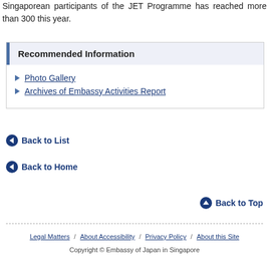Singaporean participants of the JET Programme has reached more than 300 this year.
Recommended Information
Photo Gallery
Archives of Embassy Activities Report
Back to List
Back to Home
Back to Top
Legal Matters / About Accessibility / Privacy Policy / About this Site
Copyright © Embassy of Japan in Singapore